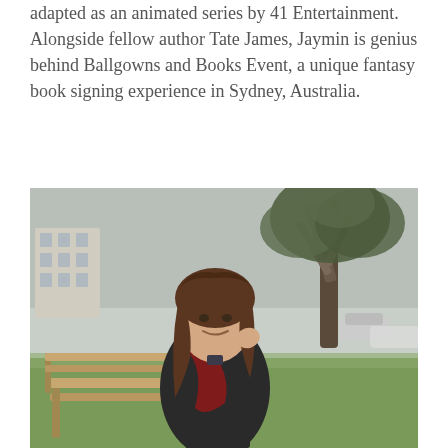adapted as an animated series by 41 Entertainment. Alongside fellow author Tate James, Jaymin is genius behind Ballgowns and Books Event, a unique fantasy book signing experience in Sydney, Australia.
[Figure (photo): A young woman with long brown hair sitting on a park bench, wearing a dark jacket with a red scarf, smiling at the camera. A large tree and buildings are visible in the background. The photo is taken outdoors in a park setting.]